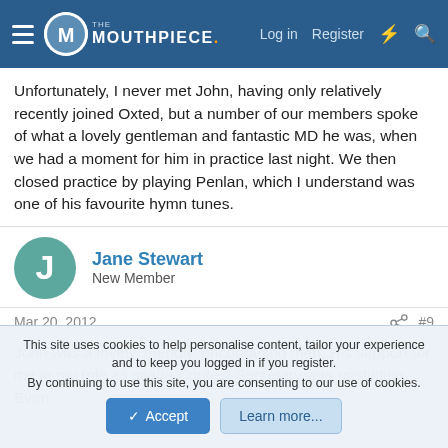The Mouthpiece — Log in | Register
Unfortunately, I never met John, having only relatively recently joined Oxted, but a number of our members spoke of what a lovely gentleman and fantastic MD he was, when we had a moment for him in practice last night. We then closed practice by playing Penlan, which I understand was one of his favourite hymn tunes.
Jane Stewart
New Member
Mar 20, 2012  #9
John was a lovely, friendly, encouraging man. His support for me in my role as scaba Contest Secretary was unstinting. Even
This site uses cookies to help personalise content, tailor your experience and to keep you logged in if you register.
By continuing to use this site, you are consenting to our use of cookies.